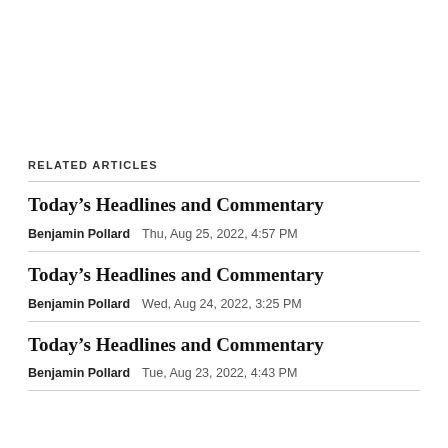RELATED ARTICLES
Today's Headlines and Commentary
Benjamin Pollard   Thu, Aug 25, 2022, 4:57 PM
Today's Headlines and Commentary
Benjamin Pollard   Wed, Aug 24, 2022, 3:25 PM
Today's Headlines and Commentary
Benjamin Pollard   Tue, Aug 23, 2022, 4:43 PM